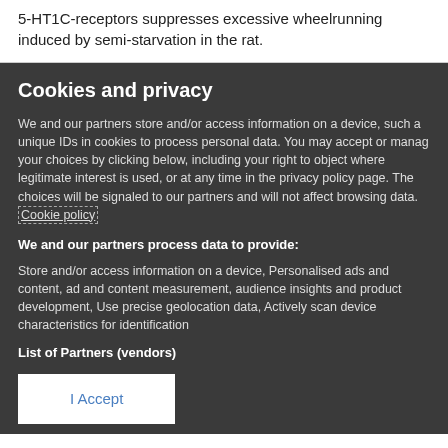5-HT1C-receptors suppresses excessive wheelrunning induced by semi-starvation in the rat.
Cookies and privacy
We and our partners store and/or access information on a device, such as unique IDs in cookies to process personal data. You may accept or manage your choices by clicking below, including your right to object where legitimate interest is used, or at any time in the privacy policy page. These choices will be signaled to our partners and will not affect browsing data. Cookie policy
We and our partners process data to provide:
Store and/or access information on a device, Personalised ads and content, ad and content measurement, audience insights and product development, Use precise geolocation data, Actively scan device characteristics for identification
List of Partners (vendors)
I Accept